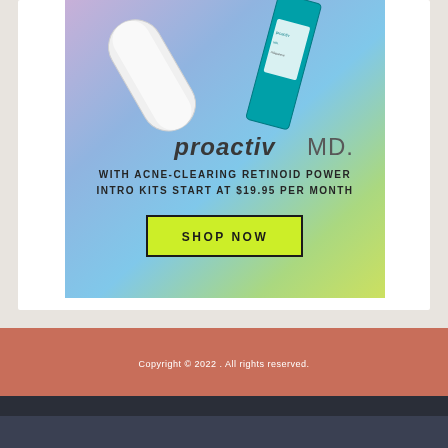[Figure (photo): ProactivMD advertisement showing skincare product tubes (white tube and teal tube) on a colorful gradient background (purple/blue/green/yellow). Text overlay reads 'proactiv MD.' with tagline 'WITH ACNE-CLEARING RETINOID POWER INTRO KITS START AT $19.95 PER MONTH' and a yellow-green 'SHOP NOW' button.]
Copyright © 2022 . All rights reserved.